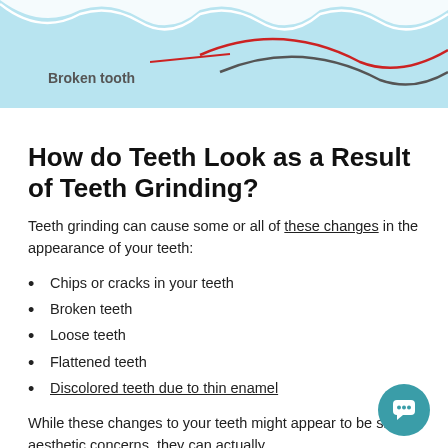[Figure (illustration): Top portion of a dental illustration showing wavy tooth outline lines on light blue background with 'Broken tooth' label and red/gray curved lines]
How do Teeth Look as a Result of Teeth Grinding?
Teeth grinding can cause some or all of these changes in the appearance of your teeth:
Chips or cracks in your teeth
Broken teeth
Loose teeth
Flattened teeth
Discolored teeth due to thin enamel
While these changes to your teeth might appear to be simply aesthetic concerns, they can actually